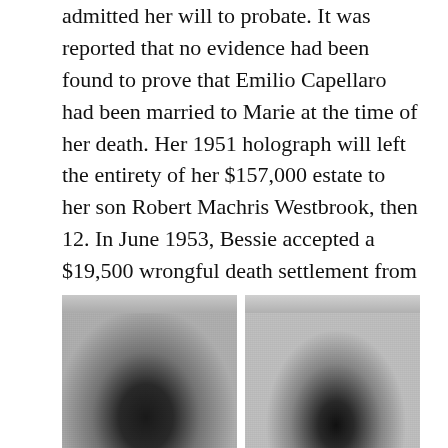admitted her will to probate. It was reported that no evidence had been found to prove that Emilio Capellaro had been married to Marie at the time of her death. Her 1951 holograph will left the entirety of her $157,000 estate to her son Robert Machris Westbrook, then 12. In June 1953, Bessie accepted a $19,500 wrongful death settlement from Pan American Airways. As a condition of the settlement, Emilio Capellaro supplied a signed statement attesting that he had been engaged to Marie, but that they were not married.
[Figure (photo): Two black-and-white portrait photographs side by side, showing two individuals from approximately the shoulders up.]